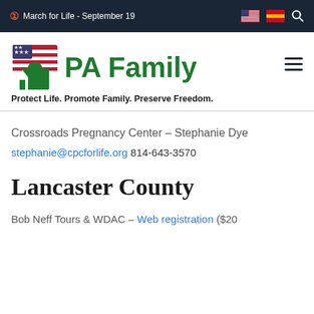March for Life - September 19
[Figure (logo): PA Family logo with US Capitol building and American flag imagery, green text reading 'PA Family']
Protect Life. Promote Family. Preserve Freedom.
Crossroads Pregnancy Center – Stephanie Dye
stephanie@cpcforlife.org 814-643-3570
Lancaster County
Bob Neff Tours & WDAC – Web registration ($20